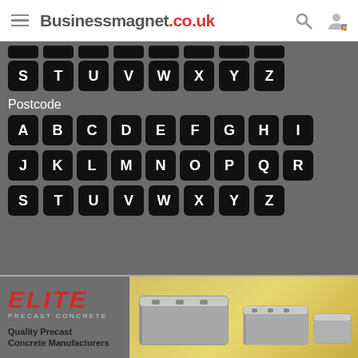Businessmagnet.co.uk
S T U V W X Y Z
Postcode
A B C D E F G H I
J K L M N O P Q R
S T U V W X Y Z
[Figure (screenshot): Advertisement banner for Elite Precast Concrete showing logo, precast concrete blocks/products, and tagline 'Quality Precast Concrete Manufacturers']